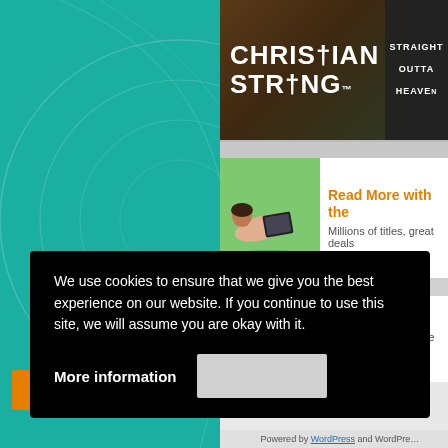[Figure (screenshot): Screenshot of a website with teal/green background with decorative white circular arc lines on the left, and a right content panel showing website content including ads and text.]
[Figure (photo): Christian Strong brand advertisement banner with dark wood background, white bold text reading CHRISTIAN STRONG with cross, and a shirt image on the right with text STRAIGHT OUTTA HEAVEN]
[Figure (photo): Amazon Kindle advertisement: person lying in grass reading a tablet, with orange text 'Read More with the' and subtitle 'Millions of titles, great deals']
Affiliate Disclosure
Daphne Tarango is a participant in affiliate programs DaySpring, Church Source, Hazelden, Christian Stro...
We use cookies to ensure that we give you the best experience on our website. If you continue to use this site, we will assume you are okay with it.
More information
Powered by WordPress and WordPre...